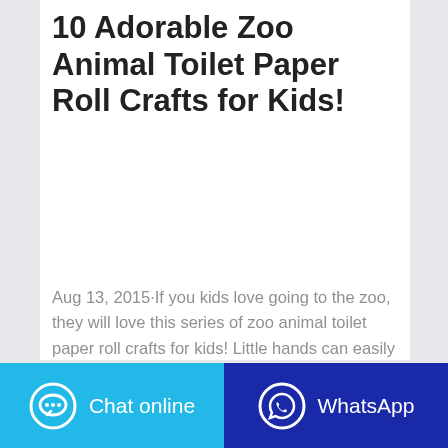10 Adorable Zoo Animal Toilet Paper Roll Crafts for Kids!
Aug 13, 2015·If you kids love going to the zoo, they will love this series of zoo animal toilet paper roll crafts for kids! Little hands can easily help stick on googly eyes, practice scissor skills, and assemble these adorable zoo animals. Of course, you might need to finish the animals with a glue gun (always a good idea) but the result is an adorable ...
[Figure (screenshot): Green CONTACT THE MANUFACTURER button and green WHATSAPP button]
[Figure (screenshot): Light blue Chat online button with chat bubble icon and dark blue WhatsApp button with WhatsApp icon at the bottom of the page]